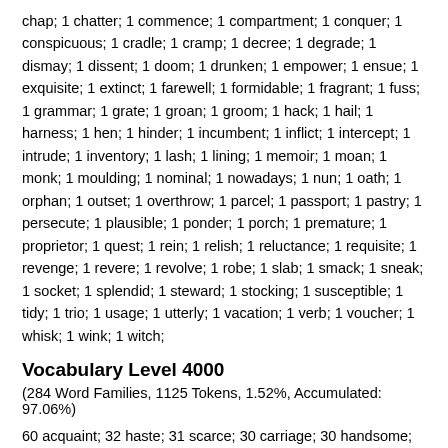chap; 1 chatter; 1 commence; 1 compartment; 1 conquer; 1 conspicuous; 1 cradle; 1 cramp; 1 decree; 1 degrade; 1 dismay; 1 dissent; 1 doom; 1 drunken; 1 empower; 1 ensue; 1 exquisite; 1 extinct; 1 farewell; 1 formidable; 1 fragrant; 1 fuss; 1 grammar; 1 grate; 1 groan; 1 groom; 1 hack; 1 hail; 1 harness; 1 hen; 1 hinder; 1 incumbent; 1 inflict; 1 intercept; 1 intrude; 1 inventory; 1 lash; 1 lining; 1 memoir; 1 moan; 1 monk; 1 moulding; 1 nominal; 1 nowadays; 1 nun; 1 oath; 1 orphan; 1 outset; 1 overthrow; 1 parcel; 1 passport; 1 pastry; 1 persecute; 1 plausible; 1 ponder; 1 porch; 1 premature; 1 proprietor; 1 quest; 1 rein; 1 relish; 1 reluctance; 1 requisite; 1 revenge; 1 revere; 1 revolve; 1 robe; 1 slab; 1 smack; 1 sneak; 1 socket; 1 splendid; 1 steward; 1 stocking; 1 susceptible; 1 tidy; 1 trio; 1 usage; 1 utterly; 1 vacation; 1 verb; 1 voucher; 1 whisk; 1 wink; 1 witch;
Vocabulary Level 4000
(284 Word Families, 1125 Tokens, 1.52%, Accumulated: 97.06%)
60 acquaint; 32 haste; 31 scarce; 30 carriage; 30 handsome; 29 distress; 22 fond; 19 endeavour; 17 resent; 16 astonish; 16 impatient; 14 indulge; 13 incline; 13 leisure; 12 merit; 11